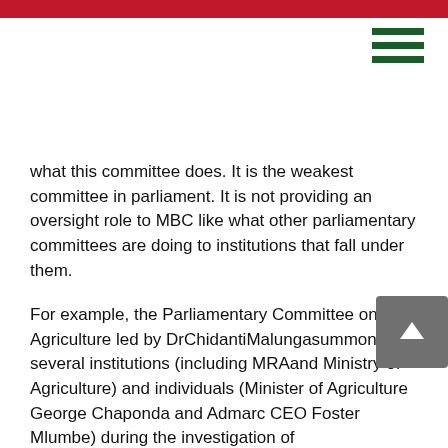what this committee does. It is the weakest committee in parliament. It is not providing an oversight role to MBC like what other parliamentary committees are doing to institutions that fall under them.
For example, the Parliamentary Committee on Agriculture led by DrChidantiMalungasummoned several institutions (including MRAand Ministry of Agriculture) and individuals (Minister of Agriculture George Chaponda and Admarc CEO Foster Mlumbe) during the investigation of irregularpurchase of maize from Zambia to ascertain the truth.
If the committee knows what it is doing, it should have summoned Minister of Information Dausi and MBC management and demanded an explanation why the public broadcasting station was closed for DPP...